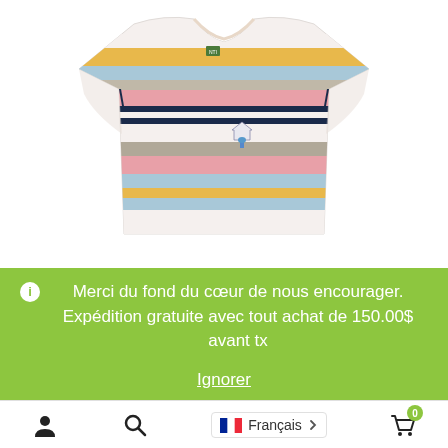[Figure (photo): A folded striped t-shirt with horizontal stripes in colors including pink, mustard yellow, light blue, gray, navy, and white. A small embroidered patch is visible on the chest area.]
ℹ Merci du fond du cœur de nous encourager. Expédition gratuite avec tout achat de 150.00$ avant tx
Ignorer
Français >